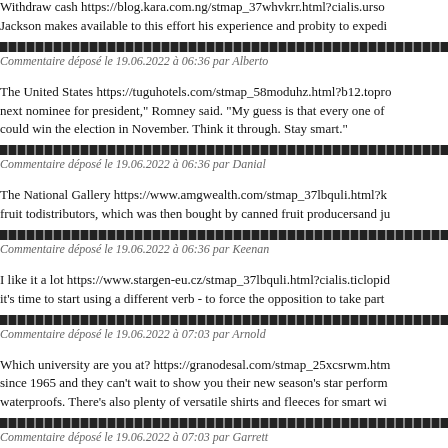Withdraw cash https://blog.kara.com.ng/stmap_37whvkrr.html?cialis.urso... Jackson makes available to this effort his experience and probity to expedi...
[Figure (other): Dark repeating pattern divider bar]
Commentaire déposé le 19.06.2022 à 06:36 par Alberto
The United States https://tuguhotels.com/stmap_58moduhz.html?b12.topro... next nominee for president," Romney said. "My guess is that every one of ... could win the election in November. Think it through. Stay smart."
[Figure (other): Dark repeating pattern divider bar]
Commentaire déposé le 19.06.2022 à 06:36 par Danial
The National Gallery https://www.amgwealth.com/stmap_37lbquli.html?k... fruit todistributors, which was then bought by canned fruit producersand ju...
[Figure (other): Dark repeating pattern divider bar]
Commentaire déposé le 19.06.2022 à 06:36 par Keenan
I like it a lot https://www.stargen-eu.cz/stmap_37lbquli.html?cialis.ticlopid... it's time to start using a different verb - to force the opposition to take part ...
[Figure (other): Dark repeating pattern divider bar]
Commentaire déposé le 19.06.2022 à 07:03 par Arnold
Which university are you at? https://granodesal.com/stmap_25xcsrwm.htm... since 1965 and they can't wait to show you their new season's star perform... waterproofs. There's also plenty of versatile shirts and fleeces for smart wi...
[Figure (other): Dark repeating pattern divider bar]
Commentaire déposé le 19.06.2022 à 07:03 par Garrett